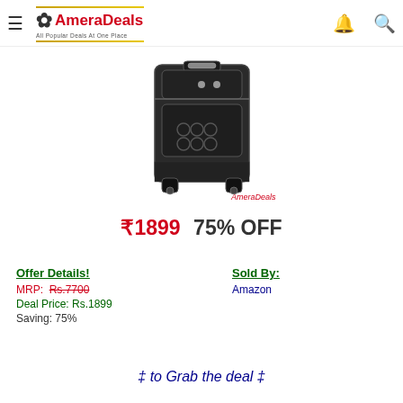AmeraDeals — All Popular Deals At One Place
[Figure (photo): Black wheeled carry-on suitcase with circular logo pattern on front, two wheels visible at base, silver zipper pulls]
₹1899  75% OFF
Offer Details!
MRP: Rs.7700
Deal Price: Rs.1899
Saving: 75%
Sold By:
Amazon
‡ to Grab the deal ‡